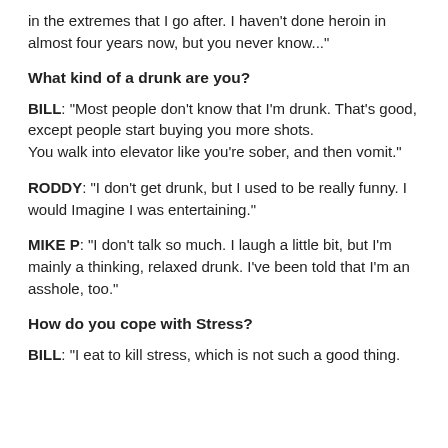in the extremes that I go after. I haven't done heroin in almost four years now, but you never know..."
What kind of a drunk are you?
BILL: "Most people don't know that I'm drunk. That's good, except people start buying you more shots. You walk into elevator like you're sober, and then vomit."
RODDY: "I don't get drunk, but I used to be really funny. I would Imagine I was entertaining."
MIKE P: "I don't talk so much. I laugh a little bit, but I'm mainly a thinking, relaxed drunk. I've been told that I'm an asshole, too."
How do you cope with Stress?
BILL: "I eat to kill stress, which is not such a good thing.